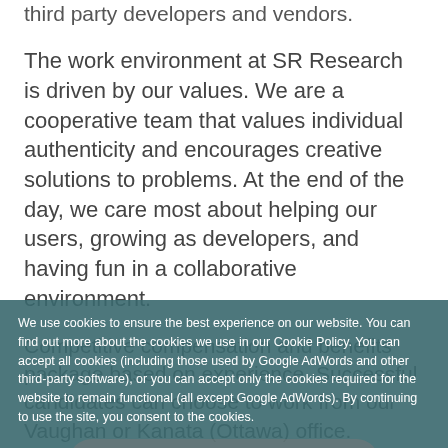third party developers and vendors.
The work environment at SR Research is driven by our values. We are a cooperative team that values individual authenticity and encourages creative solutions to problems. At the end of the day, we care most about helping our users, growing as developers, and having fun in a collaborative environment.
Competitive compensation and benefits package based on experience. Successful candidates can choose to work from our Vaughan or Kanata (Ottawa) office.
We use cookies to ensure the best experience on our website. You can find out more about the cookies we use in our Cookie Policy. You can accept all cookies (including those used by Google AdWords and other third-party software), or you can accept only the cookies required for the website to remain functional (all except Google AdWords). By continuing to use the site, you consent to the cookies.
Accept All Cookies
Accept Functional Cookies Only
Read more
Roles a
Design and develop components, plug-ins, third party integrations, and solutions, in collaboration with support, software, and